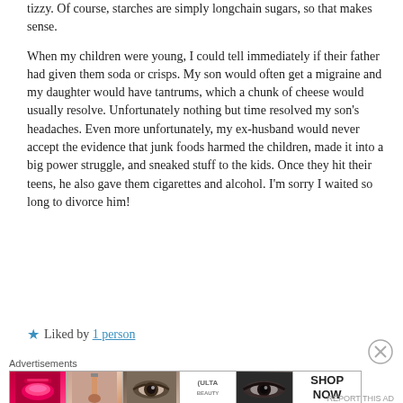tizzy. Of course, starches are simply longchain sugars, so that makes sense.

When my children were young, I could tell immediately if their father had given them soda or crisps. My son would often get a migraine and my daughter would have tantrums, which a chunk of cheese would usually resolve. Unfortunately nothing but time resolved my son's headaches. Even more unfortunately, my ex-husband would never accept the evidence that junk foods harmed the children, made it into a big power struggle, and sneaked stuff to the kids. Once they hit their teens, he also gave them cigarettes and alcohol. I'm sorry I waited so long to divorce him!
★ Liked by 1 person
[Figure (photo): Advertisement banner showing ULTA beauty products with close-up images of lips with red lipstick, a makeup brush, an eye with mascara, ULTA logo, smokey eye makeup, and a SHOP NOW button]